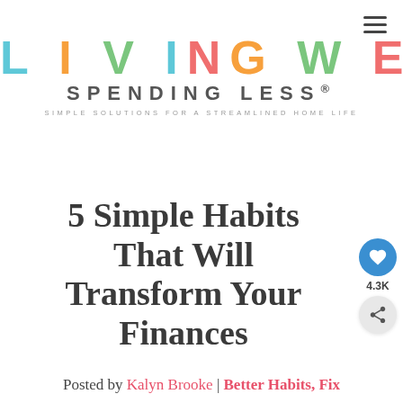LIVING WELL SPENDING LESS® — SIMPLE SOLUTIONS FOR A STREAMLINED HOME LIFE
5 Simple Habits That Will Transform Your Finances
Posted by Kalyn Brooke | Better Habits, Fix